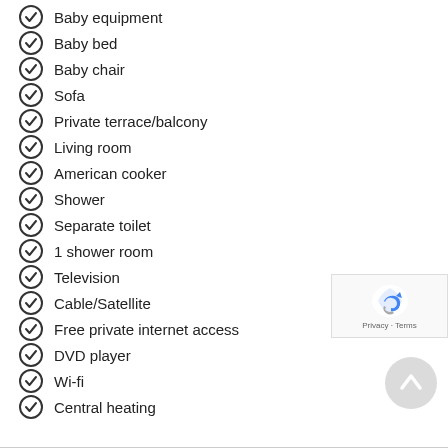Baby equipment
Baby bed
Baby chair
Sofa
Private terrace/balcony
Living room
American cooker
Shower
Separate toilet
1 shower room
Television
Cable/Satellite
Free private internet access
DVD player
Wi-fi
Central heating